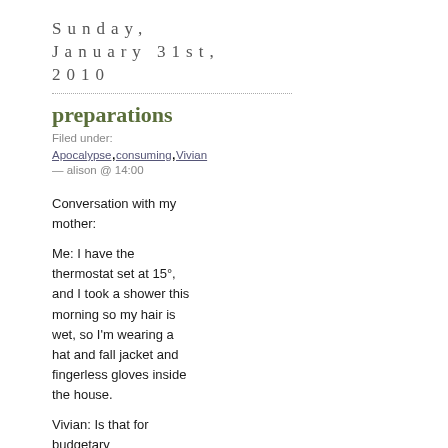Sunday, January 31st, 2010
preparations
Filed under:
Apocalypse,consuming,Vivian
— alison @ 14:00
Conversation with my mother:

Me: I have the thermostat set at 15°, and I took a shower this morning so my hair is wet, so I'm wearing a hat and fall jacket and fingerless gloves inside the house.

Vivian: Is that for budgetary